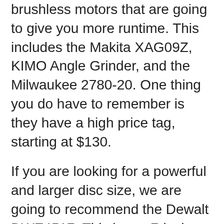brushless motors that are going to give you more runtime. This includes the Makita XAG09Z, KIMO Angle Grinder, and the Milwaukee 2780-20. One thing you do have to remember is they have a high price tag, starting at $130.
If you are looking for a powerful and larger disc size, we are going to recommend the Dewalt DWE4517. This has a 7-inch disc and a corded design for all of the power you need for larger projects. You will have to spend more money with its high $139 price tag, but this is going to be the best on our list for tougher materials.